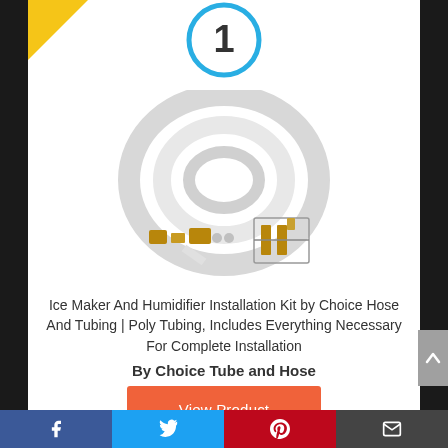[Figure (other): Yellow corner ribbon/badge in top-left corner]
[Figure (other): Blue circle with number 1 ranking badge at top center]
[Figure (photo): Product photo of Ice Maker And Humidifier Installation Kit showing white poly tubing coiled and brass fittings/valve]
Ice Maker And Humidifier Installation Kit by Choice Hose And Tubing | Poly Tubing, Includes Everything Necessary For Complete Installation
By Choice Tube and Hose
View Product
Facebook Twitter Pinterest Email social share bar